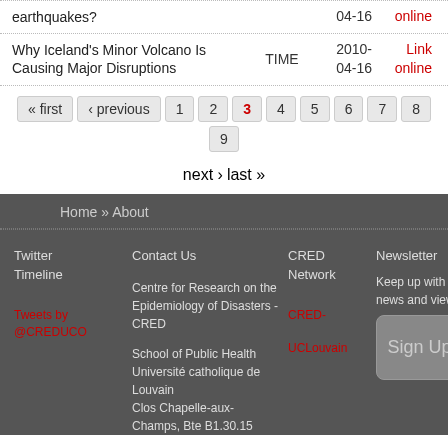earthquakes?   04-16   online
Why Iceland's Minor Volcano Is Causing Major Disruptions   TIME   2010-04-16   Link online
Pagination: « first  ‹ previous  1  2  3  4  5  6  7  8  9  next ›  last »
Home » About
Twitter Timeline
Tweets by @CREDUCO
Contact Us
Centre for Research on the Epidemiology of Disasters - CRED
School of Public Health Université catholique de Louvain Clos Chapelle-aux-Champs, Bte B1.30.15
CRED Network
CRED-UCLouvain
Newsletter
Keep up with our news and views
Sign Up...